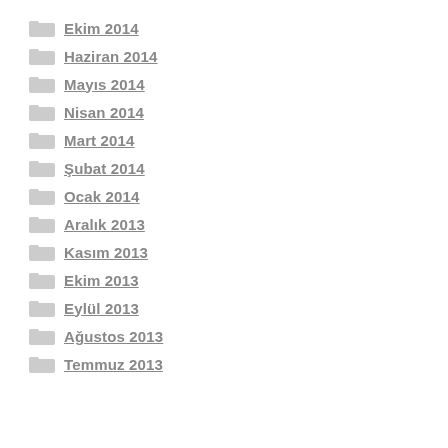Ekim 2014
Haziran 2014
Mayıs 2014
Nisan 2014
Mart 2014
Şubat 2014
Ocak 2014
Aralık 2013
Kasım 2013
Ekim 2013
Eylül 2013
Ağustos 2013
Temmuz 2013